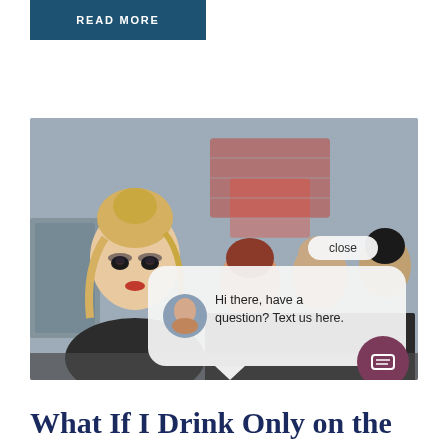READ MORE
[Figure (photo): Teenage girl with heavy makeup and blonde hair in an updo standing in front of a brick wall with graffiti, with three other teenage girls behind her. A chat popup overlay reads 'Hi there, have a question? Text us here.' with a close button and a chat icon.]
What If I Drink Only on the